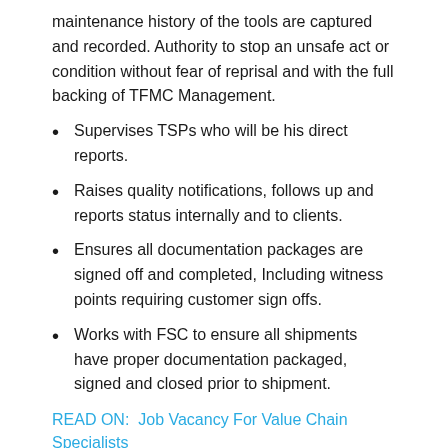maintenance history of the tools are captured and recorded. Authority to stop an unsafe act or condition without fear of reprisal and with the full backing of TFMC Management.
Supervises TSPs who will be his direct reports.
Raises quality notifications, follows up and reports status internally and to clients.
Ensures all documentation packages are signed off and completed, Including witness points requiring customer sign offs.
Works with FSC to ensure all shipments have proper documentation packaged, signed and closed prior to shipment.
READ ON:  Job Vacancy For Value Chain Specialists